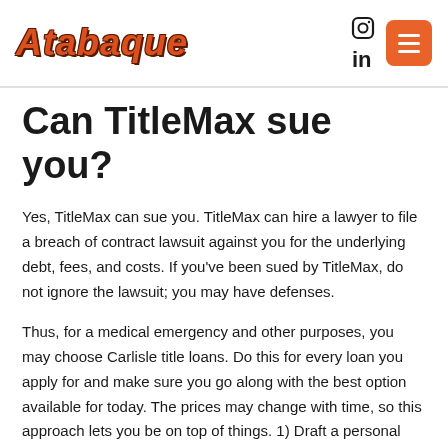Atabaque
Can TitleMax sue you?
Yes, TitleMax can sue you. TitleMax can hire a lawyer to file a breach of contract lawsuit against you for the underlying debt, fees, and costs. If you've been sued by TitleMax, do not ignore the lawsuit; you may have defenses.
Thus, for a medical emergency and other purposes, you may choose Carlisle title loans. Do this for every loan you apply for and make sure you go along with the best option available for today. The prices may change with time, so this approach lets you be on top of things. 1) Draft a personal financial plan for the next couple of